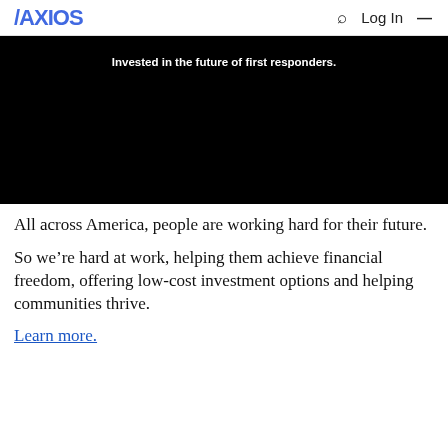AXIOS  Q  Log In  ☰
[Figure (photo): Black advertisement image with white bold text: 'Invested in the future of first responders.']
All across America, people are working hard for their future.
So we're hard at work, helping them achieve financial freedom, offering low-cost investment options and helping communities thrive.
Learn more.